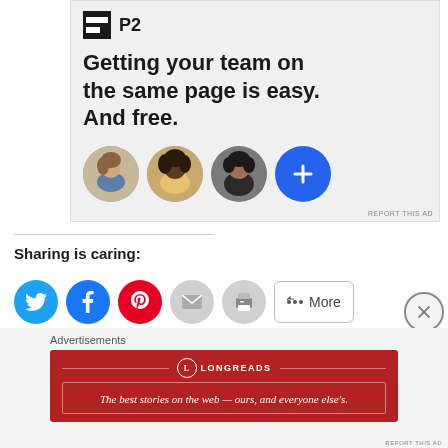[Figure (infographic): P2 app advertisement. Shows the P2 logo (dark square with two horizontal bars), headline text 'Getting your team on the same page is easy. And free.' and three circular avatar photos of people plus a blue plus button.]
Sharing is caring:
[Figure (infographic): Social sharing buttons: Twitter (blue bird), Facebook (blue f), Pinterest (red P), Email (envelope), Print (printer), and a 'More' button with share icon.]
Advertisements
[Figure (illustration): Longreads advertisement banner in dark red/crimson. Shows Longreads logo and tagline: 'The best stories on the web — ours, and everyone else's.']